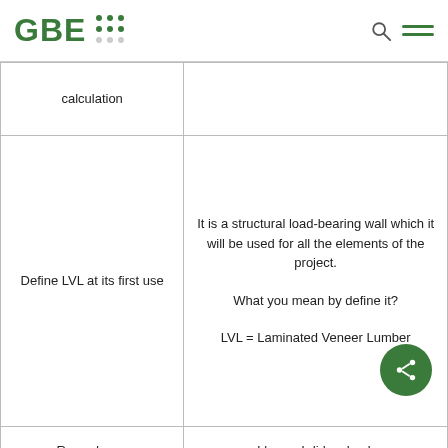GBE
| calculation |  |
| Define LVL at its first use | It is a structural load-bearing wall which it will be used for all the elements of the project.

What you mean by define it?

LVL = Laminated Veneer Lumber |
| Reread your | I know, I did a check |